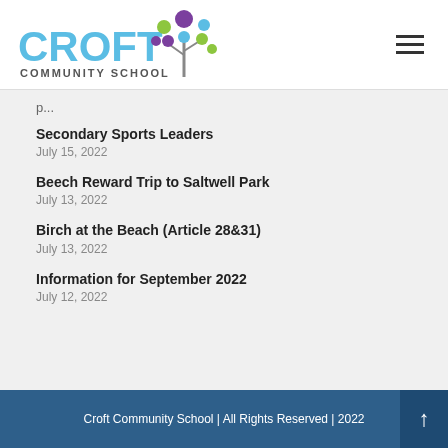Croft Community School
Secondary Sports Leaders
July 15, 2022
Beech Reward Trip to Saltwell Park
July 13, 2022
Birch at the Beach (Article 28&31)
July 13, 2022
Information for September 2022
July 12, 2022
Croft Community School | All Rights Reserved | 2022